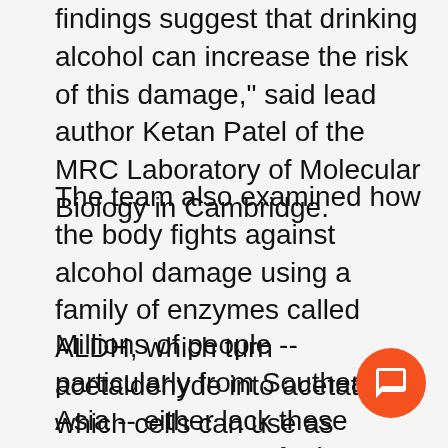findings suggest that drinking alcohol can increase the risk of this damage," said lead author Ketan Patel of the MRC Laboratory of Molecular Biology in Cambridge.
The team also examined how the body fights against alcohol damage using a family of enzymes called ALDH, which turn acetaldehyde into acetate, which cells can use as energy.
Millions of people -- particularly from Southeast Asia -- either lack these enzymes or carry faulty versions, said the team. And mice lacking ALDH, given alcohol, suffered four times as much DNA